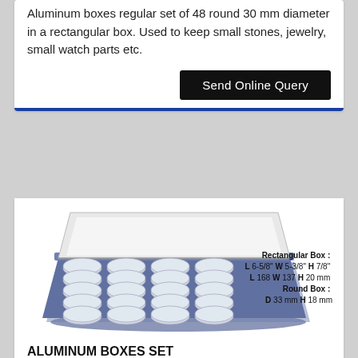Aluminum boxes regular set of 48 round 30 mm diameter in a rectangular box. Used to keep small stones, jewelry, small watch parts etc.
Send Online Query
[Figure (photo): Photo of an open aluminum rectangular box containing 20 round aluminum containers arranged in a 4x5 grid. The box has a blue/grey tray and a clear lid open at the top. Specifications overlay shows: Rectangular Box: L 6-5/8" W 5-3/8" H 7/8", L 168 W 137 H 20 mm, Round Box: D 33 mm H 18 mm]
ALUMINUM BOXES SET
Code: 6.030 Regular
Aluminum boxes regular set of 20 round 33 mm diameter in a rectangular box.
Send Online Query